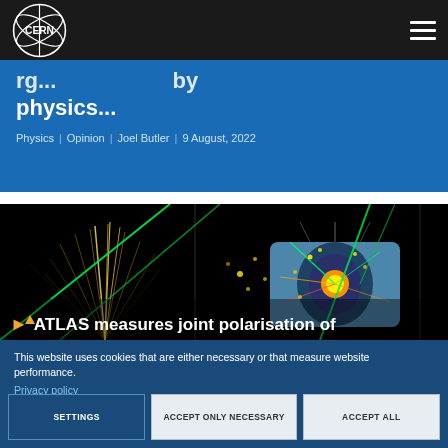[Figure (logo): CERN logo in white on dark nav bar]
physics...
Physics | Opinion | Joel Butler | 9 August, 2022
[Figure (illustration): Physics particle collision visualization showing ATLAS detector with particle jets and tracks on black background]
ATLAS measures joint polarisation of
This website uses cookies that are either necessary or that measure website performance.
Privacy policy
Cookie documentation
SETTINGS
ACCEPT ONLY NECESSARY
ACCEPT ALL